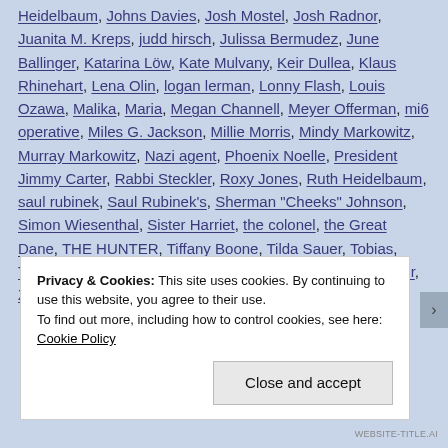Heidelbaum, Johns Davies, Josh Mostel, Josh Radnor, Juanita M. Kreps, judd hirsch, Julissa Bermudez, June Ballinger, Katarina Löw, Kate Mulvany, Keir Dullea, Klaus Rhinehart, Lena Olin, logan lerman, Lonny Flash, Louis Ozawa, Malika, Maria, Megan Channell, Meyer Offerman, mi6 operative, Miles G. Jackson, Millie Morris, Mindy Markowitz, Murray Markowitz, Nazi agent, Phoenix Noelle, President Jimmy Carter, Rabbi Steckler, Roxy Jones, Ruth Heidelbaum, saul rubinek, Saul Rubinek's, Sherman "Cheeks" Johnson, Simon Wiesenthal, Sister Harriet, the colonel, the Great Dane, THE HUNTER, Tiffany Boone, Tilda Sauer, Tobias, Travis Leich, Victor Williams, Wilhelm Zuchs, William Sadler, Zack
Privacy & Cookies: This site uses cookies. By continuing to use this website, you agree to their use. To find out more, including how to control cookies, see here: Cookie Policy
Close and accept